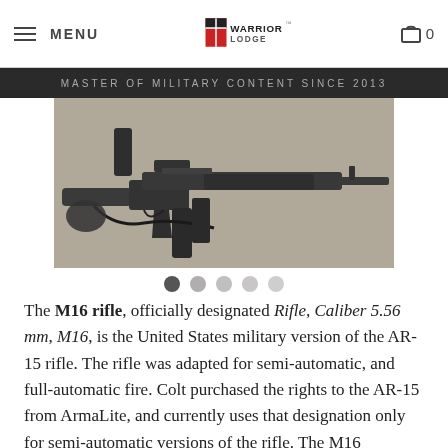MENU | WARRIOR LODGE | 0
MASTER OF MILITARY CONTENT SINCE 2013
[Figure (photo): Photograph of an M16 rifle with accessories laid out on a light surface]
The M16 rifle, officially designated Rifle, Caliber 5.56 mm, M16, is the United States military version of the AR-15 rifle. The rifle was adapted for semi-automatic, and full-automatic fire. Colt purchased the rights to the AR-15 from ArmaLite, and currently uses that designation only for semi-automatic versions of the rifle. The M16